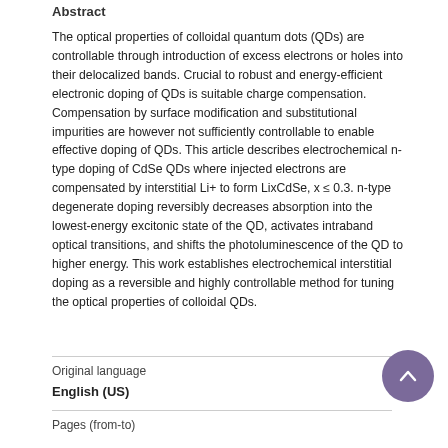Abstract
The optical properties of colloidal quantum dots (QDs) are controllable through introduction of excess electrons or holes into their delocalized bands. Crucial to robust and energy-efficient electronic doping of QDs is suitable charge compensation. Compensation by surface modification and substitutional impurities are however not sufficiently controllable to enable effective doping of QDs. This article describes electrochemical n-type doping of CdSe QDs where injected electrons are compensated by interstitial Li+ to form LixCdSe, x ≤ 0.3. n-type degenerate doping reversibly decreases absorption into the lowest-energy excitonic state of the QD, activates intraband optical transitions, and shifts the photoluminescence of the QD to higher energy. This work establishes electrochemical interstitial doping as a reversible and highly controllable method for tuning the optical properties of colloidal QDs.
Original language
English (US)
Pages (from-to)